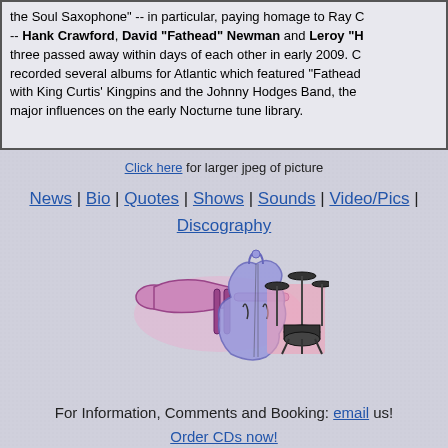Featuring their original instrumental concept, the band will p... the Soul Saxophone" -- in particular, paying homage to Ray C... -- Hank Crawford, David "Fathead" Newman and Leroy "H... three passed away within days of each other in early 2009. C... recorded several albums for Atlantic which featured "Fathead"... with King Curtis' Kingpins and the Johnny Hodges Band, these... major influences on the early Nocturne tune library.
Click here for larger jpeg of picture
News | Bio | Quotes | Shows | Sounds | Video/Pics | Discography
[Figure (illustration): Three clip-art musical instrument icons: a trombone (purple/pink), a cello/violin (blue/purple), and a drum kit (dark on pink background)]
For Information, Comments and Booking: email us! Order CDs now!
Site by One Globe Publishing